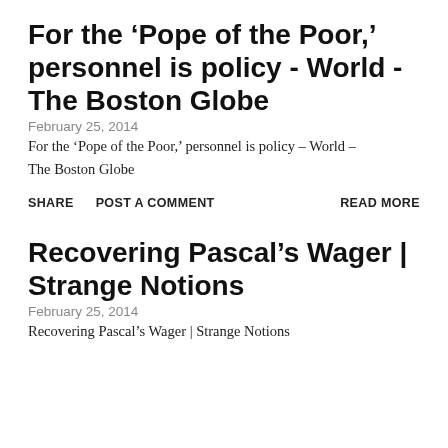For the ‘Pope of the Poor,’ personnel is policy - World - The Boston Globe
February 25, 2014
For the ‘Pope of the Poor,’ personnel is policy – World – The Boston Globe
SHARE   POST A COMMENT   READ MORE
Recovering Pascal’s Wager | Strange Notions
February 25, 2014
Recovering Pascal's Wager | Strange Notions